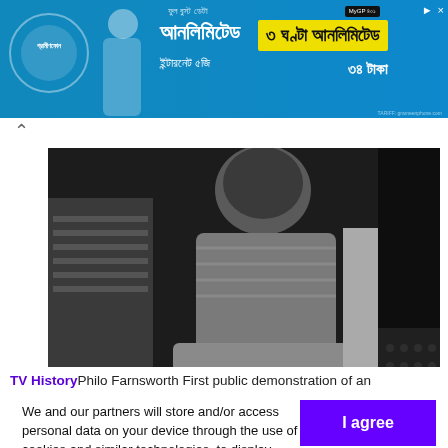[Figure (photo): Advertisement banner in Bengali for Grameenphone unlimited internet - blue background with Bengali text, yellow highlighted box showing '৩ ঘণ্টা আনলিমিটেড', price '৩৪ টাকা', MyGP badge]
[Figure (photo): Black and white photograph showing a person sitting at what appears to be a bar or counter, viewed from behind, wearing a patterned dress]
TV HistoryPhilo Farnsworth First public demonstration of an
We and our partners will store and/or access personal data on your device through the use of cookies and similar technologies, to display personalised ads, for ad and content measurement, audience insights and product development.
By clicking 'I agree,' you consent to this, or you can manage your preferences.